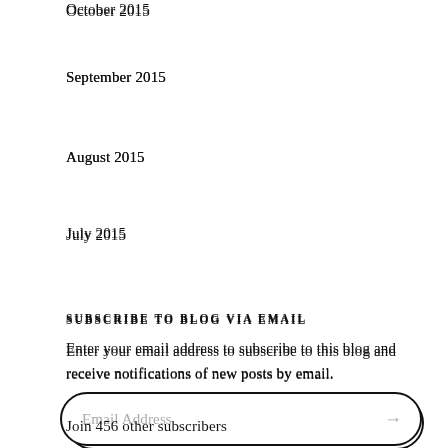October 2015
September 2015
August 2015
July 2015
SUBSCRIBE TO BLOG VIA EMAIL
Enter your email address to subscribe to this blog and receive notifications of new posts by email.
Email Address
Join 456 other subscribers